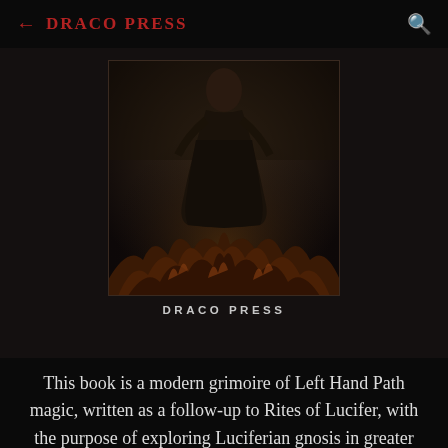← Draco Press
[Figure (photo): Book cover image showing a dark sepia-toned photograph of a robed figure standing amid flames at the bottom, with a dark forest background. Below the image reads 'DRACO PRESS' in spaced capital letters.]
DRACO PRESS
This book is a modern grimoire of Left Hand Path magic, written as a follow-up to Rites of Lucifer, with the purpose of exploring Luciferian gnosis in greater depth. Following the discussion of Lucifer's masks, titles, and attributes, Awakening